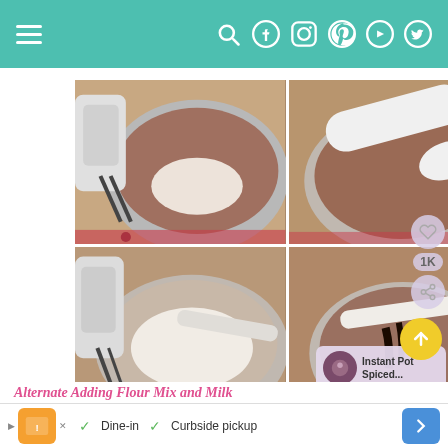Navigation header with hamburger menu and social icons
[Figure (photo): Four step-by-step baking photos showing mixing of flour and ingredients in a metal bowl with a hand mixer]
Alternate Adding Flour Mix and Milk
[Figure (photo): Advertisement banner: Dine-in and Curbside pickup]
Instant Pot Spiced...
1K